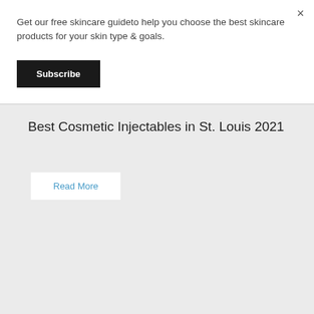Get our free skincare guideto help you choose the best skincare products for your skin type & goals.
Subscribe
Best Cosmetic Injectables in St. Louis 2021
Read More